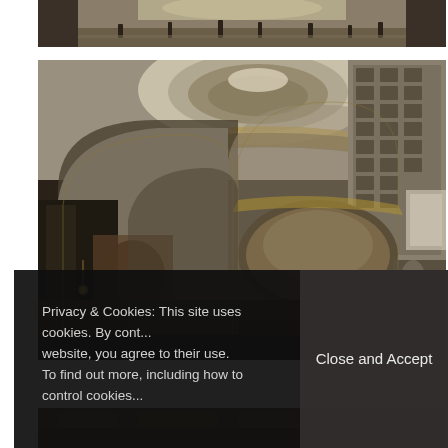[Figure (photo): Top strip photo showing the interior nave of a cathedral with visitors in the background, taken from a low angle looking toward the altar]
[Figure (photo): Main large photo of St Paul's Cathedral interior showing ornate gilded dome, arched ceiling, mosaic murals, classical columns and decorative coffered stonework with warm amber and gold tones]
[Figure (photo): Partially visible bottom strip showing cathedral mosaic floor or decorative element in warm brown and gold tones]
Privacy & Cookies: This site uses cookies. By cont... website, you agree to their use.
To find out more, including how to control cookies...
Close and Accept